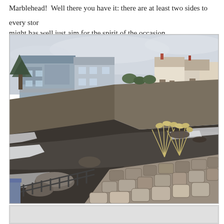Marblehead!  Well there you have it: there are at least two sides to every story might has well just aim for the spirit of the occasion.
[Figure (photo): Winter coastal scene in Marblehead showing a rocky beach with snow, a stone wall in the foreground, a metal railing, dried grasses, and residential houses on rocky bluffs overlooking the harbor water.]